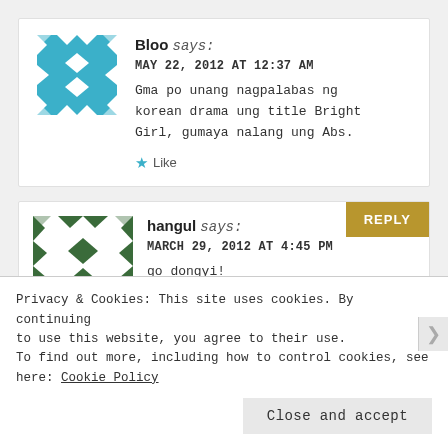[Figure (illustration): Teal geometric quilt-pattern avatar for user Bloo]
Bloo says:
MAY 22, 2012 AT 12:37 AM
Gma po unang nagpalabas ng korean drama ung title Bright Girl, gumaya nalang ung Abs.
Like
REPLY
[Figure (illustration): Dark green geometric quilt-pattern avatar for user hangul]
hangul says:
MARCH 29, 2012 AT 4:45 PM
go dongyi!
Privacy & Cookies: This site uses cookies. By continuing to use this website, you agree to their use. To find out more, including how to control cookies, see here: Cookie Policy
Close and accept